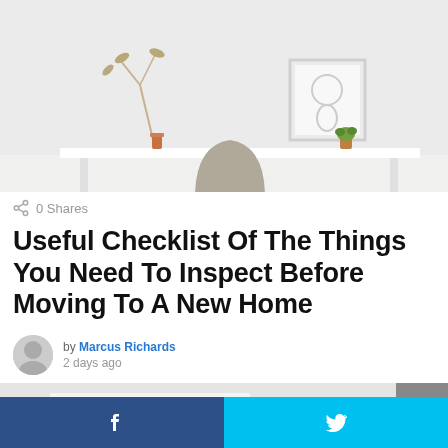[Figure (photo): Minimalist home office scene: a white desk with a tan/olive chair, decorative plant branch, small orange vase, potted plant, and a framed artwork on the wall. White background.]
0 Shares
Useful Checklist Of The Things You Need To Inspect Before Moving To A New Home
by Marcus Richards
2 days ago
[Figure (photo): Partial view of a bright, minimalist white room interior, slightly blurred.]
f
🐦